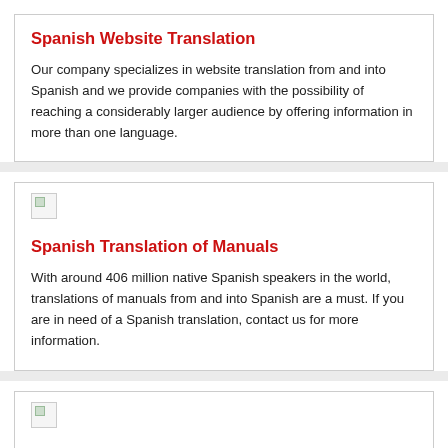Spanish Website Translation
Our company specializes in website translation from and into Spanish and we provide companies with the possibility of reaching a considerably larger audience by offering information in more than one language.
[Figure (other): Broken image placeholder icon]
Spanish Translation of Manuals
With around 406 million native Spanish speakers in the world, translations of manuals from and into Spanish are a must. If you are in need of a Spanish translation, contact us for more information.
[Figure (other): Broken image placeholder icon]